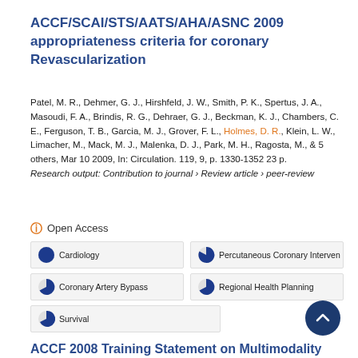ACCF/SCAI/STS/AATS/AHA/ASNC 2009 appropriateness criteria for coronary Revascularization
Patel, M. R., Dehmer, G. J., Hirshfeld, J. W., Smith, P. K., Spertus, J. A., Masoudi, F. A., Brindis, R. G., Dehraer, G. J., Beckman, K. J., Chambers, C. E., Ferguson, T. B., Garcia, M. J., Grover, F. L., Holmes, D. R., Klein, L. W., Limacher, M., Mack, M. J., Malenka, D. J., Park, M. H., Ragosta, M., & 5 others, Mar 10 2009, In: Circulation. 119, 9, p. 1330-1352 23 p.
Research output: Contribution to journal › Review article › peer-review
Open Access
Cardiology
Percutaneous Coronary Interven
Coronary Artery Bypass
Regional Health Planning
Survival
ACCF 2008 Training Statement on Multimodality